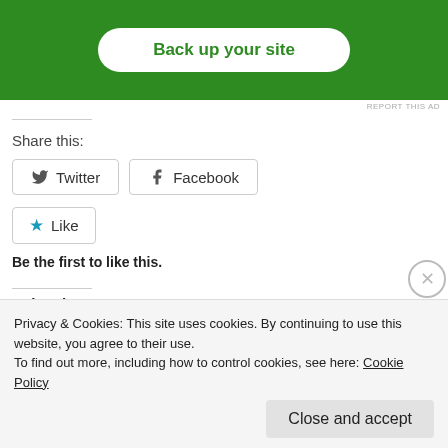[Figure (screenshot): Green ad banner with white rounded button labeled 'Back up your site']
REPORT THIS AD
Share this:
Twitter
Facebook
Like
Be the first to like this.
Related
Happy Birthday, America!    Thai Food and Fireworks
Privacy & Cookies: This site uses cookies. By continuing to use this website, you agree to their use.
To find out more, including how to control cookies, see here: Cookie Policy
Close and accept